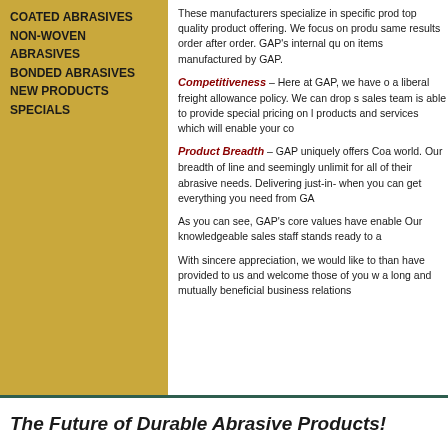COATED ABRASIVES
NON-WOVEN ABRASIVES
BONDED ABRASIVES
NEW PRODUCTS
SPECIALS
These manufacturers specialize in specific prod top quality product offering. We focus on produ same results order after order. GAP’s internal qu on items manufactured by GAP.
Competitiveness – Here at GAP, we have o a liberal freight allowance policy. We can drop s sales team is able to provide special pricing on l products and services which will enable your co
Product Breadth – GAP uniquely offers Coa world. Our breadth of line and seemingly unlimit for all of their abrasive needs. Delivering just-in- when you can get everything you need from GA
As you can see, GAP’s core values have enable Our knowledgeable sales staff stands ready to a
With sincere appreciation, we would like to than have provided to us and welcome those of you w a long and mutually beneficial business relations
The Future of Durable Abrasive Products!